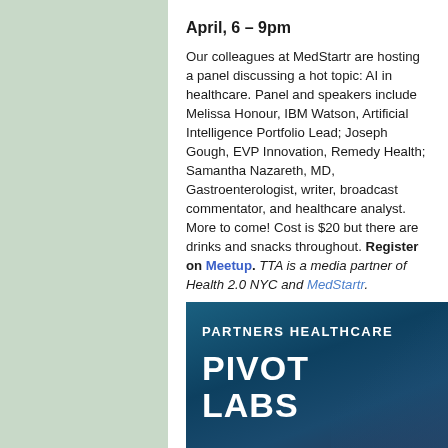April, 6 – 9pm
Our colleagues at MedStartr are hosting a panel discussing a hot topic: AI in healthcare. Panel and speakers include Melissa Honour, IBM Watson, Artificial Intelligence Portfolio Lead; Joseph Gough, EVP Innovation, Remedy Health;  Samantha Nazareth, MD, Gastroenterologist, writer, broadcast commentator, and healthcare analyst. More to come! Cost is $20 but there are drinks and snacks throughout. Register on Meetup. TTA is a media partner of Health 2.0 NYC and MedStartr.
[Figure (logo): Partners Healthcare Pivot Labs logo — dark teal/navy background with white text reading PARTNERS HEALTHCARE above PIVOT LABS in large bold uppercase letters]
Validating Your Digital Health Solution: Why, When and How. Partners